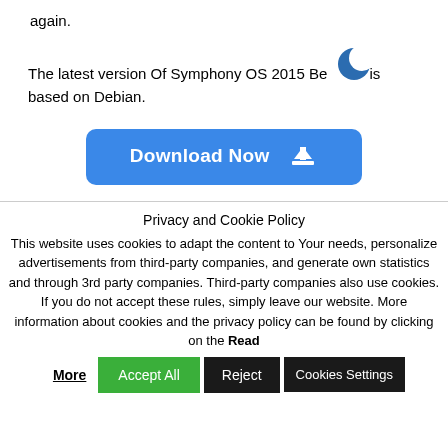again.
The latest version Of Symphony OS 2015 Beta is based on Debian.
[Figure (illustration): Blue crescent moon icon in top right of text area]
[Figure (illustration): Blue Download Now button with download icon]
Privacy and Cookie Policy
This website uses cookies to adapt the content to Your needs, personalize advertisements from third-party companies, and generate own statistics and through 3rd party companies. Third-party companies also use cookies. If you do not accept these rules, simply leave our website. More information about cookies and the privacy policy can be found by clicking on the Read More
Accept All   Reject   Cookies Settings